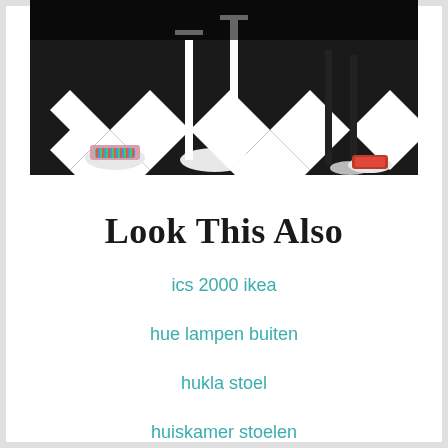[Figure (photo): A black and white checkered floor with white lamp stands and scattered colorful fabric/accessories]
Look This Also
ics 2000 ikea
hue lampen buiten
hukla stoel
huiskamer stoelen